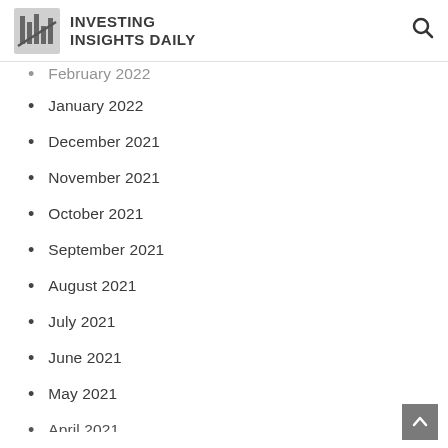Investing Insights Daily
February 2022
January 2022
December 2021
November 2021
October 2021
September 2021
August 2021
July 2021
June 2021
May 2021
April 2021